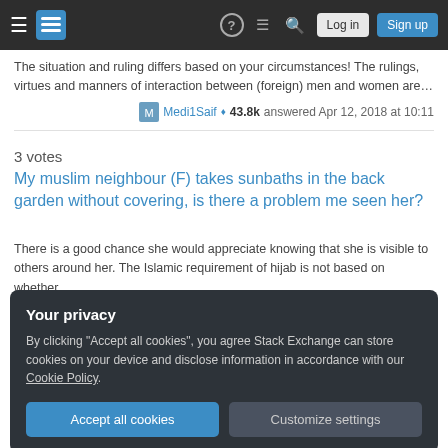Stack Exchange navigation bar with Log in and Sign up buttons
The situation and ruling differs based on your circumstances! The rulings, virtues and manners of interaction between (foreign) men and women are…
Medi1Saif ♦ 43.8k answered Apr 12, 2018 at 10:11
3 votes
My muslim neighbour (F) takes sunbaths in the back garden without covering, is there a problem me seen her?
There is a good chance she would appreciate knowing that she is visible to others around her. The Islamic requirement of hijab is not based on whether…
Zayn 231 answered Jun 17 at 16:56
Your privacy
By clicking "Accept all cookies", you agree Stack Exchange can store cookies on your device and disclose information in accordance with our Cookie Policy.
Accept all cookies
Customize settings